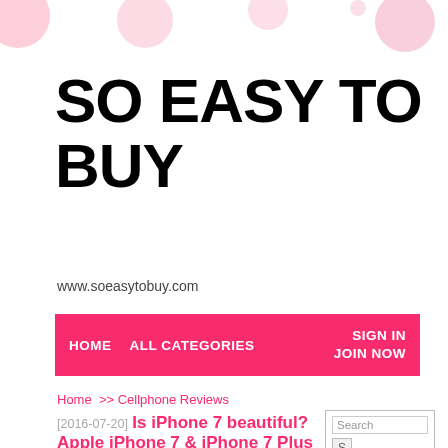[Figure (illustration): Decorative pink circles of various sizes along the top of the page on a white background]
SO EASY TO BUY
www.soeasytobuy.com
HOME   ALL CATEGORIES   SIGN IN  JOIN NOW
Home  >>  Cellphone Reviews
[2016-07-20] Is iPhone 7 beautiful? Apple iPhone 7 & iPhone 7 Plus Release Date, Price, Specs, Features, rumors, concept design